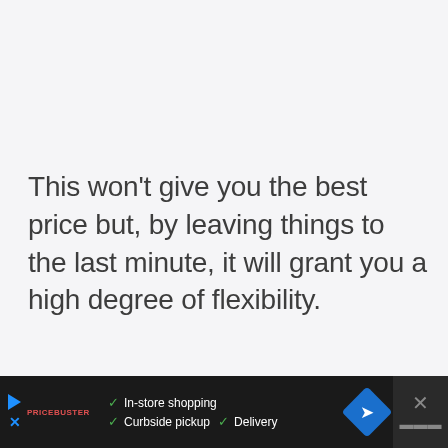This won't give you the best price but, by leaving things to the last minute, it will grant you a high degree of flexibility.
[Figure (other): Advertisement bar at bottom with play button, brand logo (Pricebuster?), checkmarks for In-store shopping, Curbside pickup, Delivery, navigation icon, and close button]